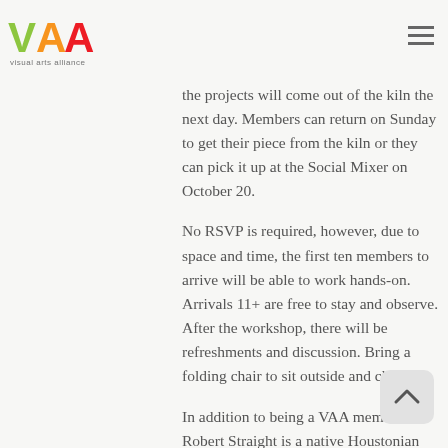Visual Arts Alliance
will work with each person on their project so it can be put in the kiln for fusing. This is an overnight process so the projects will come out of the kiln the next day. Members can return on Sunday to get their piece from the kiln or they can pick it up at the Social Mixer on October 20.
No RSVP is required, however, due to space and time, the first ten members to arrive will be able to work hands-on. Arrivals 11+ are free to stay and observe. After the workshop, there will be refreshments and discussion. Bring a folding chair to sit outside and chat!
In addition to being a VAA member, Robert Straight is a native Houstonian and a senior citizen. He has a